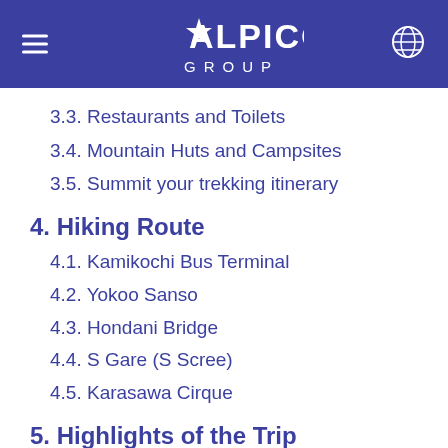ALPICO GROUP
3.3. Restaurants and Toilets
3.4. Mountain Huts and Campsites
3.5. Summit your trekking itinerary
4. Hiking Route
4.1. Kamikochi Bus Terminal
4.2. Yokoo Sanso
4.3. Hondani Bridge
4.4. S Gare (S Scree)
4.5. Karasawa Cirque
5. Highlights of the Trip